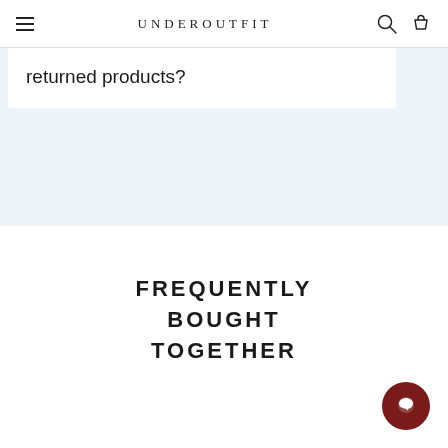UNDEROUTFIT
returned products?
FREQUENTLY BOUGHT TOGETHER
[Figure (other): Dark red circular chat/support button in the bottom right corner]